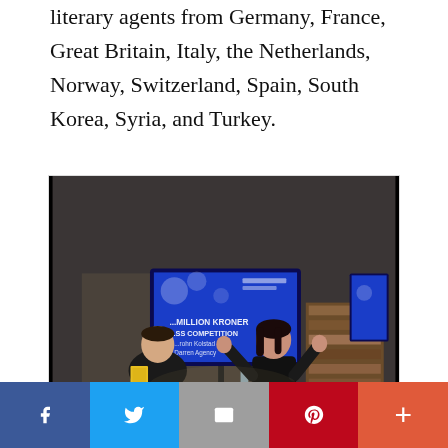literary agents from Germany, France, Great Britain, Italy, the Netherlands, Norway, Switzerland, Spain, South Korea, Syria, and Turkey.
[Figure (photo): Two women at a panel event. A blue presentation screen behind them reads '...MILLION KRONER ...SS COMPETITION / ...rohn Kolstad / Darren Agency'. One woman holds a yellow book, the other stands with arms raised. Audience members visible in the foreground.]
Facebook | Twitter | Email | Pinterest | More